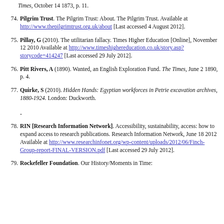(continuation) Times, October 14 1873, p. 11.
74. Pilgrim Trust. The Pilgrim Trust: About. The Pilgrim Trust. Available at http://www.thepilgrimtrust.org.uk/about [Last accessed 4 August 2012].
75. Pillay, G (2010). The utilitarian fallacy. Times Higher Education [Online], November 12 2010 Available at http://www.timeshighereducation.co.uk/story.asp?storycode=414247 [Last accessed 29 July 2012].
76. Pitt Rivers, A (1890). Wanted, an English Exploration Fund. The Times, June 2 1890, p. 4.
77. Quirke, S (2010). Hidden Hands: Egyptian workforces in Petrie excavation archives, 1880-1924. London: Duckworth.
78. RIN [Research Information Network]. Accessibility, sustainability, access: how to expand access to research publications. Research Information Network, June 18 2012 Available at http://www.researchinfonet.org/wp-content/uploads/2012/06/Finch-Group-report-FINAL-VERSION.pdf [Last accessed 29 July 2012].
79. Rockefeller Foundation. Our History/Moments in Time: